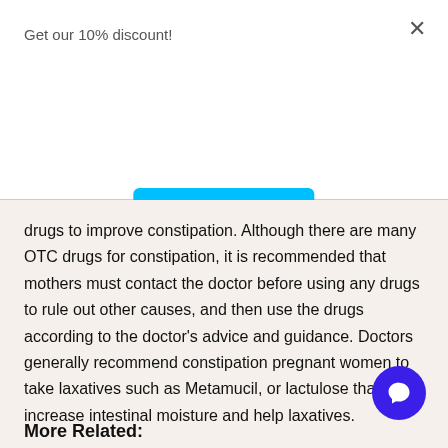Get our 10% discount!
[Figure (other): Subscribe button (cyan/blue rounded rectangle with white bold text 'Subscribe')]
drugs to improve constipation. Although there are many OTC drugs for constipation, it is recommended that mothers must contact the doctor before using any drugs to rule out other causes, and then use the drugs according to the doctor's advice and guidance. Doctors generally recommend constipation pregnant women to take laxatives such as Metamucil, or lactulose that helps increase intestinal moisture and help laxatives.
More Related: